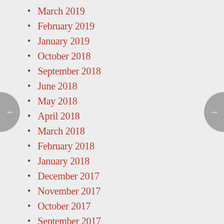March 2019
February 2019
January 2019
October 2018
September 2018
June 2018
May 2018
April 2018
March 2018
February 2018
January 2018
December 2017
November 2017
October 2017
September 2017
August 2017